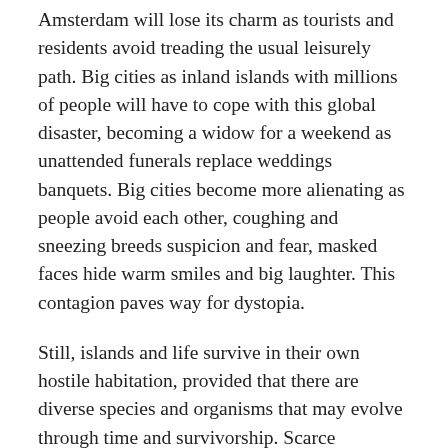Amsterdam will lose its charm as tourists and residents avoid treading the usual leisurely path. Big cities as inland islands with millions of people will have to cope with this global disaster, becoming a widow for a weekend as unattended funerals replace weddings banquets. Big cities become more alienating as people avoid each other, coughing and sneezing breeds suspicion and fear, masked faces hide warm smiles and big laughter. This contagion paves way for dystopia.
Still, islands and life survive in their own hostile habitation, provided that there are diverse species and organisms that may evolve through time and survivorship. Scarce resources and nourishment, while of course will be fought after, must be distributed in the right, just, and wise manner. To do this with humans, will be a challenge though, given that we have been outwitting each other since the invention of war games and capital.